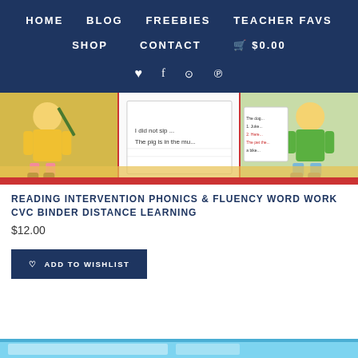HOME   BLOG   FREEBIES   TEACHER FAVS   SHOP   CONTACT   $0.00
[Figure (illustration): Educational product showing cartoon children with reading/phonics binder workbooks, with red border accents]
READING INTERVENTION PHONICS & FLUENCY WORD WORK CVC BINDER DISTANCE LEARNING
$12.00
ADD TO WISHLIST
[Figure (illustration): Bottom partial image strip in light blue, partially visible product thumbnail]